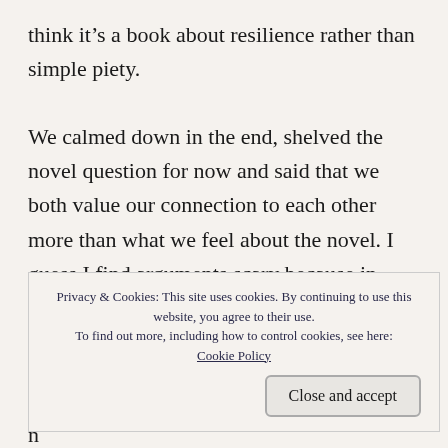think it's a book about resilience rather than simple piety.

We calmed down in the end, shelved the novel question for now and said that we both value our connection to each other more than what we feel about the novel. I guess I find arguments scary because in both my previous relationships, the arguments came as we were moving towards
Privacy & Cookies: This site uses cookies. By continuing to use this website, you agree to their use. To find out more, including how to control cookies, see here: Cookie Policy
b
s
t
n